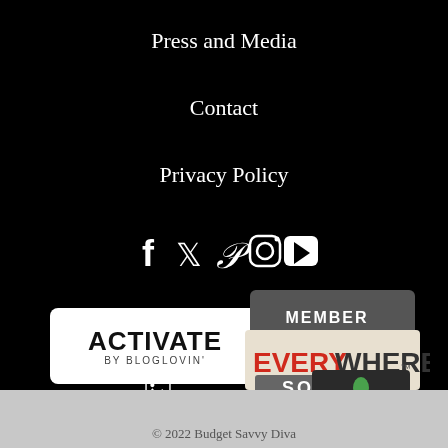Press and Media
Contact
Privacy Policy
[Figure (infographic): Social media icons: Facebook, Twitter, Pinterest, Instagram, YouTube — white icons on black background]
[Figure (logo): Activate by Bloglovin' logo — white rectangle with black text]
[Figure (logo): Everywhere Society Member badge — dark gray speech bubble with MEMBER text, white rectangle with EVERY in red WHERE in gray and SOCIETY in gray]
[Figure (logo): Blog Meets Brand logo — small broken image icon with text Blog Meets Brand]
[Figure (logo): Pollinate Media Group Member — dark square badge with colorful flower logo and text]
© 2022 Budget Savvy Diva